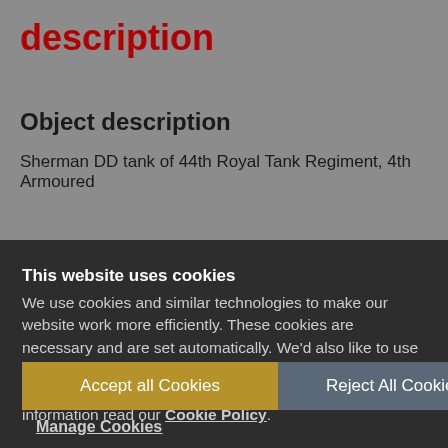description
Object description
Sherman DD tank of 44th Royal Tank Regiment, 4th Armoured
This website uses cookies
We use cookies and similar technologies to make our website work more efficiently. These cookies are necessary and are set automatically. We'd also like to use cookies to improve our website based on how you use it and to tailor our marketing to your interests. For more information read our Cookie Policy.
Accept all Cookies
Reject All Cookies
Manage Cookies